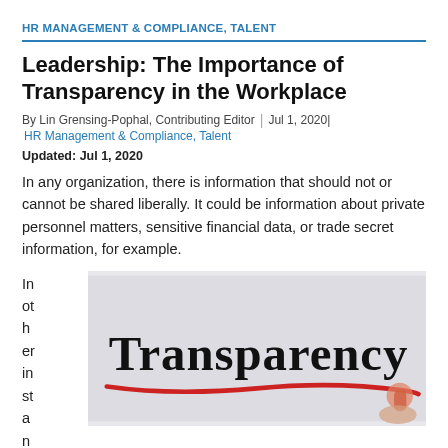HR MANAGEMENT & COMPLIANCE, TALENT
Leadership: The Importance of Transparency in the Workplace
By Lin Grensing-Pophal, Contributing Editor | Jul 1, 2020 | HR Management & Compliance, Talent
Updated: Jul 1, 2020
In any organization, there is information that should not or cannot be shared liberally. It could be information about private personnel matters, sensitive financial data, or trade secret information, for example.
[Figure (photo): A hand writing the word 'Transparency' in stylized handwriting, underlined with a red marker line, on a light gray background.]
In other instances